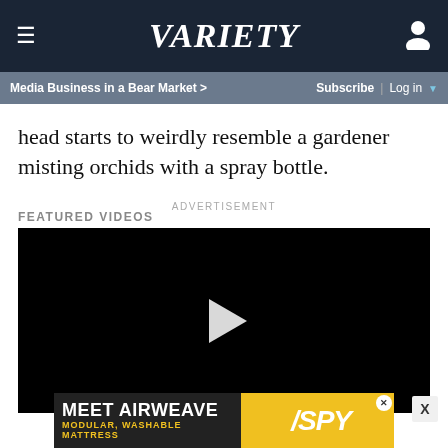VARIETY | Media Business in a Bear Market > | Subscribe | Log in
head starts to weirdly resemble a gardener misting orchids with a spray bottle.
ADVERTISEMENT
FEATURED VIDEOS
[Figure (screenshot): Black video player with white play button triangle in center]
[Figure (other): Advertisement banner: MEET AIRWEAVE MODULAR, WASHABLE MATTRESS with SPY logo on yellow background]